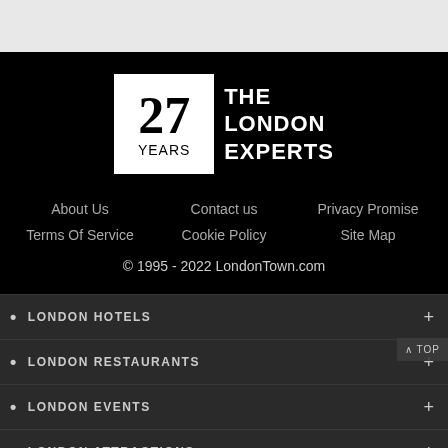[Figure (logo): 27 YEARS logo box with white background and black text, next to 'THE LONDON EXPERTS' in white text on black background]
About Us
Contact us
Privacy Promise
Terms Of Service
Cookie Policy
Site Map
© 1995 - 2022 LondonTown.com
LONDON HOTELS
LONDON RESTAURANTS
LONDON EVENTS
LONDON ATTRACTIONS